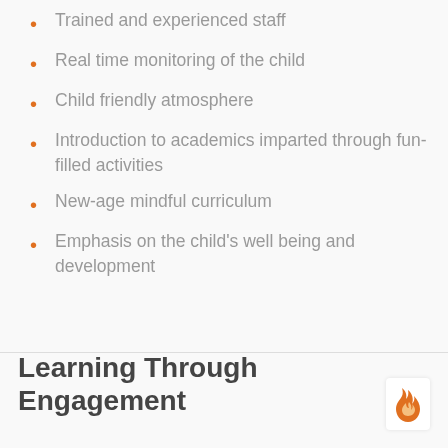Trained and experienced staff
Real time monitoring of the child
Child friendly atmosphere
Introduction to academics imparted through fun-filled activities
New-age mindful curriculum
Emphasis on the child's well being and development
Learning Through Engagement